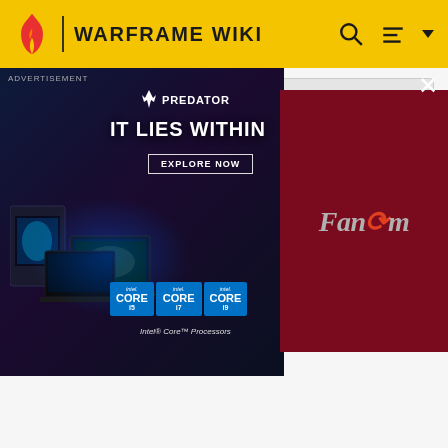WARFRAME WIKI
[Figure (screenshot): Acer Predator advertisement banner with Intel Core processors and dark sci-fi background. Text: IT LIES WITHIN, EXPLORE NOW. Overlaid on Fandom logo (dark red background).]
[Figure (photo): Fennec or Fox head cosmetic item from Warframe game, showing animal-style helmet with large ears]
Fennec or Fox head
[Figure (photo): Persian head cosmetic item from Warframe game, showing cat/persian-style helmet]
Persian head
[Figure (photo): Bat/dragon-style head cosmetic item from Warframe game with green glowing eyes and dark wings/ears]